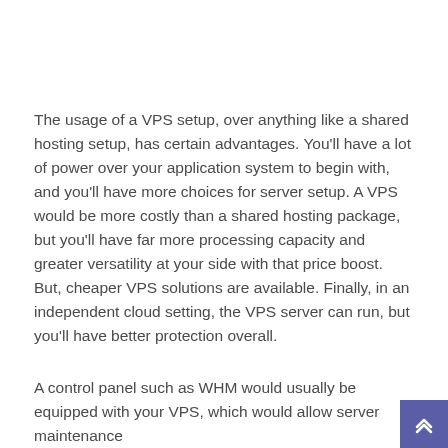The usage of a VPS setup, over anything like a shared hosting setup, has certain advantages. You'll have a lot of power over your application system to begin with, and you'll have more choices for server setup. A VPS would be more costly than a shared hosting package, but you'll have far more processing capacity and greater versatility at your side with that price boost. But, cheaper VPS solutions are available. Finally, in an independent cloud setting, the VPS server can run, but you'll have better protection overall.
A control panel such as WHM would usually be equipped with your VPS, which would allow server maintenance